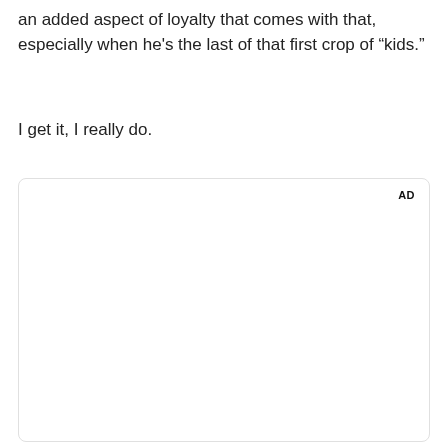an added aspect of loyalty that comes with that, especially when he's the last of that first crop of “kids.”
I get it, I really do.
[Figure (other): Advertisement placeholder box with 'AD' label in upper right corner]